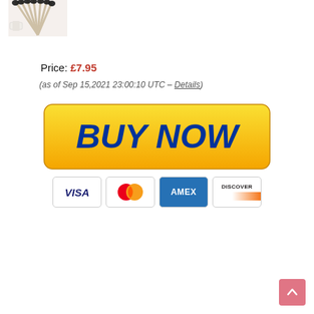[Figure (photo): Product thumbnail image of makeup brushes fanned out]
Price: £7.95
(as of Sep 15,2021 23:00:10 UTC – Details)
[Figure (other): Yellow BUY NOW button with payment icons (VISA, Mastercard, AMEX, DISCOVER) below]
[Figure (other): Pink scroll-to-top button with upward arrow in bottom right corner]